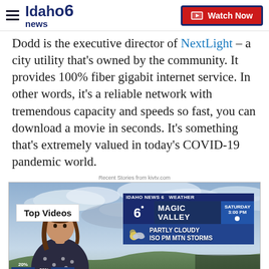Idaho news6 | Watch Now
Dodd is the executive director of NextLight – a city utility that's owned by the community. It provides 100% fiber gigabit internet service. In other words, it's a reliable network with tremendous capacity and speeds so fast, you can download a movie in seconds. It's something that's extremely valued in today's COVID-19 pandemic world.
Recent Stories from kivtv.com
[Figure (screenshot): A TV news video thumbnail showing a weather broadcast. Top Videos label in upper left. Weather overlay in upper right showing Magic Valley, Partly Cloudy, ISO PM MTN Storms, Saturday 3:00 PM. Temperature readouts at bottom: 91 ODING, 20%/63 88 SHOSHONE, 20%/57 89, 20%/60 84.]